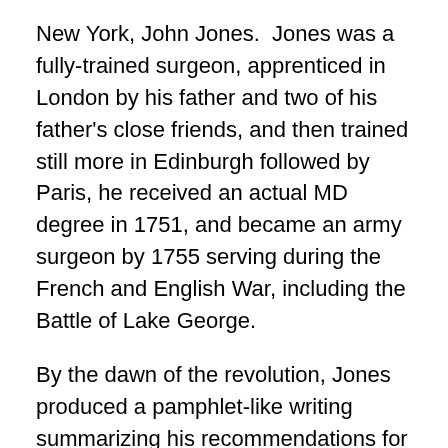New York, John Jones.  Jones was a fully-trained surgeon, apprenticed in London by his father and two of his father's close friends, and then trained still more in Edinburgh followed by Paris, he received an actual MD degree in 1751, and became an army surgeon by 1755 serving during the French and English War, including the Battle of Lake George.
By the dawn of the revolution, Jones produced a pamphlet-like writing summarizing his recommendations for the applications of surgical skills and knowledge to the military hospital and possibly the battlefield.  In his discussion of treating wounds, he wrote:
“Mr. Sharp in his Operations of Surgery, recommends nothing but dry, soft lint to recent wounds; which is generally the best applications through the whole course